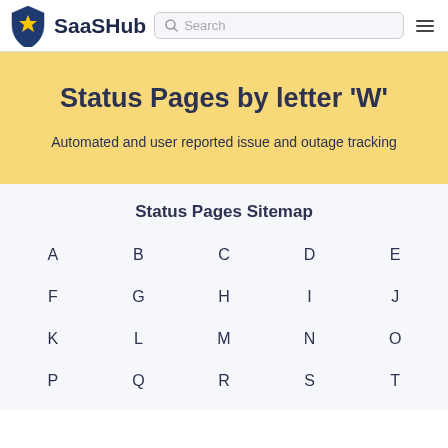SaaSHub — Search (navigation bar)
Status Pages by letter 'W'
Automated and user reported issue and outage tracking
Status Pages Sitemap
A
B
C
D
E
F
G
H
I
J
K
L
M
N
O
P
Q
R
S
T